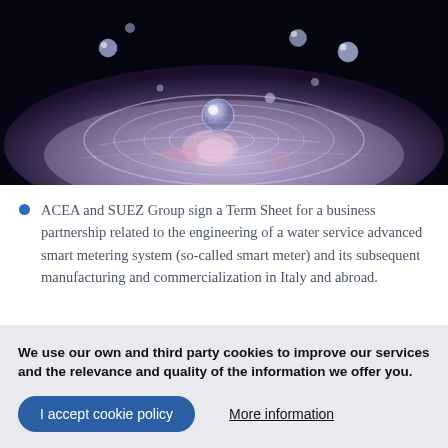[Figure (photo): Close-up macro photo of water droplets splashing on a surface with ripples, pink and purple hues against a dark background]
ACEA and SUEZ Group sign a Term Sheet for a business partnership related to the engineering of a water service advanced smart metering system (so-called smart meter) and its subsequent manufacturing and commercialization in Italy and abroad.
We use our own and third party cookies to improve our services and the relevance and quality of the information we offer you.